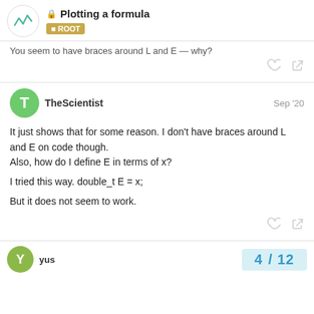Plotting a formula — ROOT
You seem to have braces around L and E — why?
TheScientist  Sep '20
It just shows that for some reason. I don't have braces around L and E on code though.
Also, how do I define E in terms of x?

I tried this way. double_t E = x;

But it does not seem to work.
yus  4 / 12